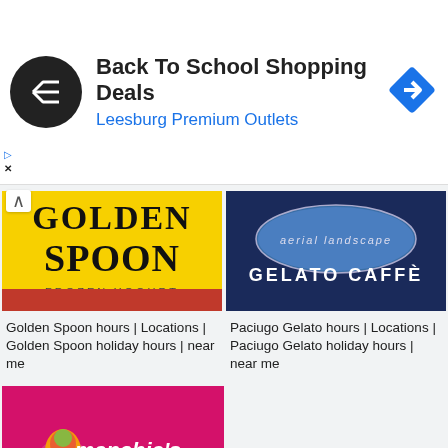[Figure (screenshot): Ad banner: Back To School Shopping Deals at Leesburg Premium Outlets with circular black logo and blue diamond arrow icon]
[Figure (logo): Golden Spoon Frozen Yogurt logo — black text on yellow background with red bar]
Golden Spoon hours | Locations | Golden Spoon holiday hours | near me
[Figure (logo): Paciugo Gelato Caffè logo — white text on dark navy background with oval aerial photo]
Paciugo Gelato hours | Locations | Paciugo Gelato holiday hours | near me
[Figure (logo): Menchie's Frozen Yogurt logo — pink/magenta background with swirl mascot and cursive brand name]
Menchie's Frozen Yogurt hours | Locations | Menchie's